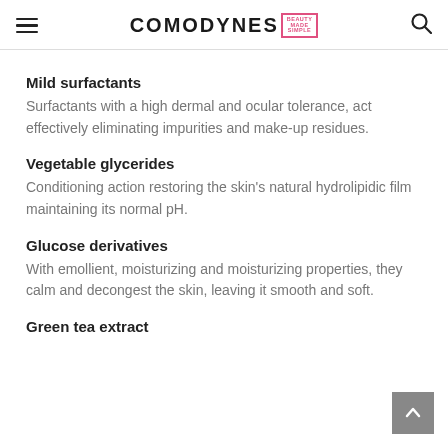COMODYNES BEAUTY MADE SIMPLE
Mild surfactants
Surfactants with a high dermal and ocular tolerance, act effectively eliminating impurities and make-up residues.
Vegetable glycerides
Conditioning action restoring the skin's natural hydrolipidic film maintaining its normal pH.
Glucose derivatives
With emollient, moisturizing and moisturizing properties, they calm and decongest the skin, leaving it smooth and soft.
Green tea extract